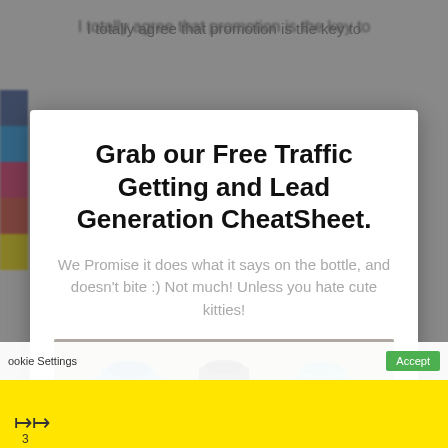I totally agree that promotion is the key to
Grab our Free Traffic Getting and Lead Generation CheatSheet.
We Promise it does what it says on the bottle, and doesn't bite :) Not much! Unless you hate cute kitties!
[Figure (photo): Three cats wearing colorful knitted hats/hoods - blue, black, and teal striped]
Cookie Settings   Accept
3